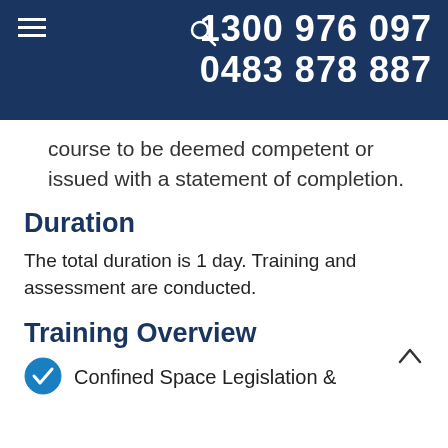1300 976 097
0483 878 887
course to be deemed competent or issued with a statement of completion.
Duration
The total duration is 1 day. Training and assessment are conducted.
Training Overview
Confined Space Legislation &